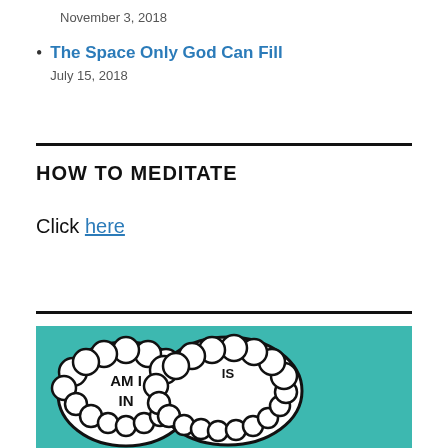November 3, 2018
The Space Only God Can Fill
July 15, 2018
HOW TO MEDITATE
Click here
[Figure (illustration): Cartoon illustration on teal background showing three thought bubbles with text: 'AM I IN', 'IS THIS THE MOMENT?', 'OM.']